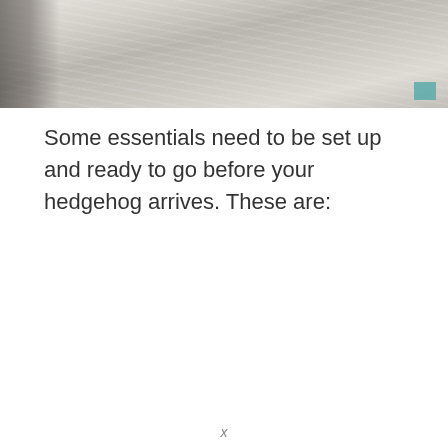[Figure (photo): Close-up photo of a hedgehog, showing white and brown fur/quills, with a teal-colored object visible in the background on the right side.]
Some essentials need to be set up and ready to go before your hedgehog arrives. These are:
x